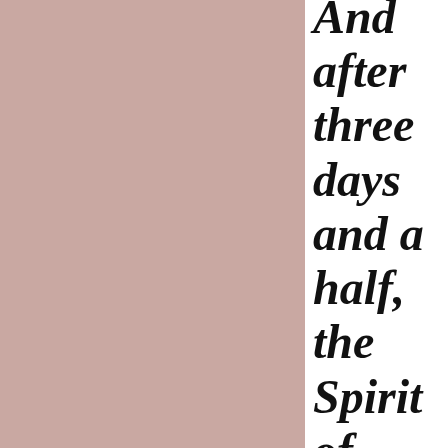[Figure (illustration): Large pinkish-mauve colored rectangle occupying the left portion of the page]
And after three days and a half, the Spirit of life from God entered into them, and th